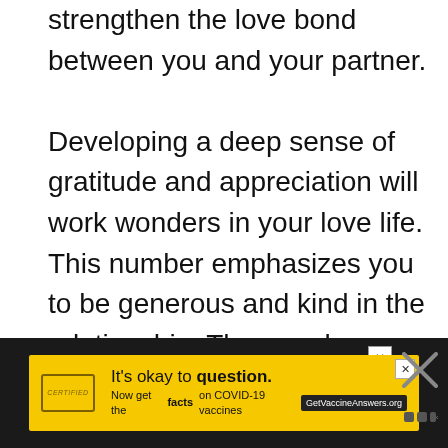strengthen the love bond between you and your partner.

Developing a deep sense of gratitude and appreciation will work wonders in your love life. This number emphasizes you to be generous and kind in the relationship. The angels are with you to improve the connectivity with your partner. Rekindle your romantic moments with gifts and surprises. It will navigate your journey in the path of everlasting love.
[Figure (other): Advertisement banner with yellow background: 'It's okay to question. Now get the facts on COVID-19 vaccines' with GetVaccineAnswers.org button, shown over a dark background with close buttons.]